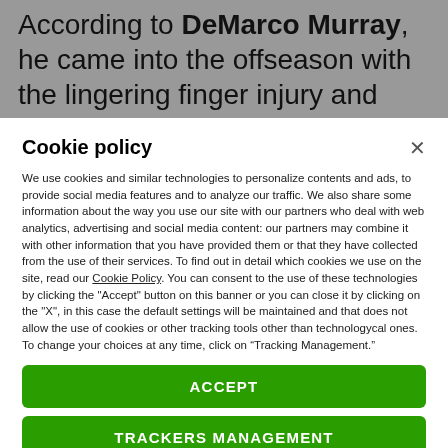According to DeMarco Murray, he came into the offseason with the lingering finger injury and
Cookie policy
We use cookies and similar technologies to personalize contents and ads, to provide social media features and to analyze our traffic. We also share some information about the way you use our site with our partners who deal with web analytics, advertising and social media content: our partners may combine it with other information that you have provided them or that they have collected from the use of their services. To find out in detail which cookies we use on the site, read our Cookie Policy. You can consent to the use of these technologies by clicking the "Accept" button on this banner or you can close it by clicking on the "X", in this case the default settings will be maintained and that does not allow the use of cookies or other tracking tools other than technologycal ones. To change your choices at any time, click on “Tracking Management.”
ACCEPT
TRACKERS MANAGEMENT
Show vendors | Show purposes